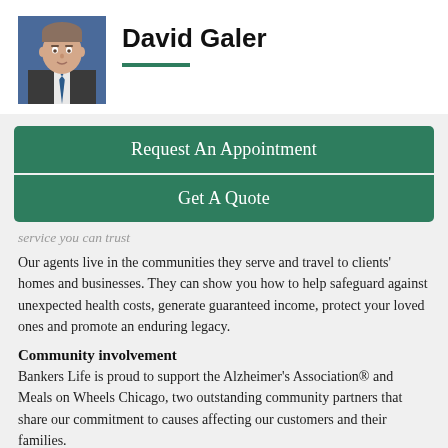[Figure (photo): Headshot photo of David Galer, a man in a suit and tie]
David Galer
Request An Appointment
Get A Quote
service you can trust
Our agents live in the communities they serve and travel to clients' homes and businesses. They can show you how to help safeguard against unexpected health costs, generate guaranteed income, protect your loved ones and promote an enduring legacy.
Community involvement
Bankers Life is proud to support the Alzheimer's Association® and Meals on Wheels Chicago, two outstanding community partners that share our commitment to causes affecting our customers and their families.